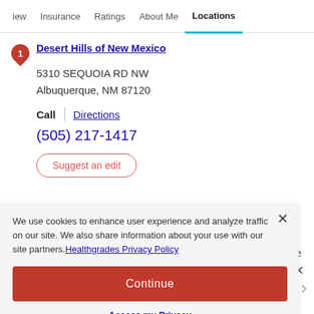iew  Insurance  Ratings  About Me  Locations
Desert Hills of New Mexico
5310 SEQUOIA RD NW
Albuquerque, NM 87120
Call  |  Directions
(505) 217-1417
Suggest an edit
We use cookies to enhance user experience and analyze traffic on our site. We also share information about your use with our site partners. Healthgrades Privacy Policy
Continue
Access my Privacy Preferences